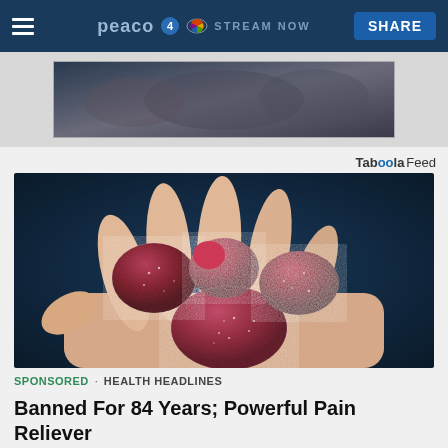NBC 4 · peacock · STREAM NOW · SHARE
[Figure (photo): Advertisement banner with dark image of people]
Tab00la Feed
[Figure (photo): Close-up photo of sugar-coated red gummy candies held in an open palm against a dark blue background]
SPONSORED · HEALTH HEADLINES
Banned For 84 Years; Powerful Pain Reliever Legalized In Virginia